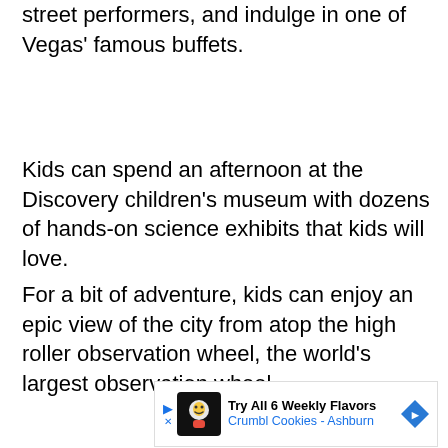street performers, and indulge in one of Vegas' famous buffets.
Kids can spend an afternoon at the Discovery children's museum with dozens of hands-on science exhibits that kids will love.
For a bit of adventure, kids can enjoy an epic view of the city from atop the high roller observation wheel, the world's largest observation wheel.
[Figure (other): Advertisement banner for Crumbl Cookies - Ashburn: Try All 6 Weekly Flavors]